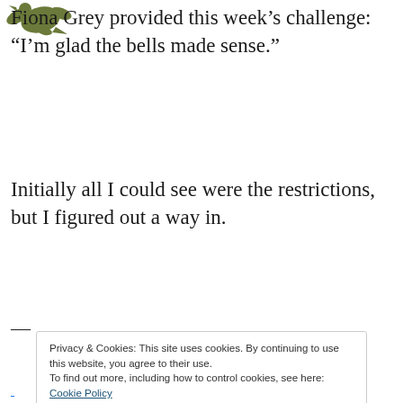[Figure (logo): Olive green decorative plant/leaf logo mark in top-left corner]
Fiona Grey provided this week's challenge: “I’m glad the bells made sense.”
Initially all I could see were the restrictions, but I figured out a way in.
—
Privacy & Cookies: This site uses cookies. By continuing to use this website, you agree to their use.
To find out more, including how to control cookies, see here:
Cookie Policy
Close and accept